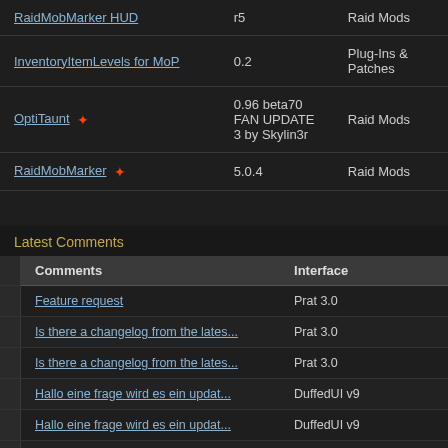|  |  |  |
| --- | --- | --- |
| RaidMobMarker HUD | r5 | Raid Mods |
| InventoryItemLevels for MoP | 0.2 | Plug-Ins & Patches |
| OptiTaunt ★ | 0.96 beta70 FAN UPDATE 3 by Skylin3r | Raid Mods |
| RaidMobMarker ★ | 5.0.4 | Raid Mods |
Latest Comments
| Comments | Interface |
| --- | --- |
| Feature request | Prat 3.0 |
| Is there a changelog from the lates... | Prat 3.0 |
| Is there a changelog from the lates... | Prat 3.0 |
| Hallo eine frage wird es ein updat... | DuffedUI v9 |
| Hallo eine frage wird es ein updat... | DuffedUI v9 |
| Re: Covenant button | DuffedUI v9 |
| Covenant button | DuffedUI v9 |